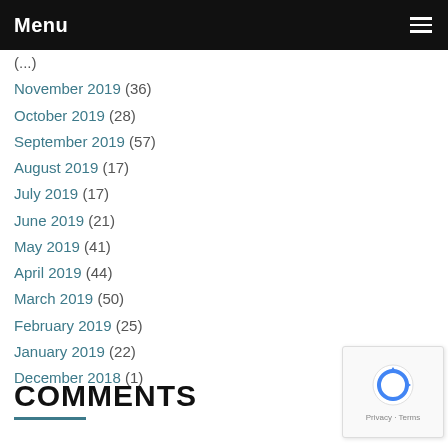Menu
November 2019 (36)
October 2019 (28)
September 2019 (57)
August 2019 (17)
July 2019 (17)
June 2019 (21)
May 2019 (41)
April 2019 (44)
March 2019 (50)
February 2019 (25)
January 2019 (22)
December 2018 (1)
COMMENTS
[Figure (other): reCAPTCHA widget with Privacy and Terms links]